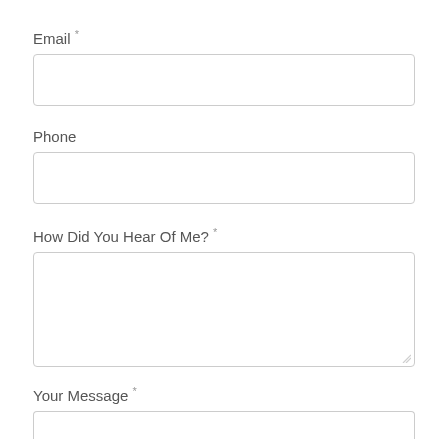Email *
[Figure (other): Empty email input text field]
Phone
[Figure (other): Empty phone input text field]
How Did You Hear Of Me? *
[Figure (other): Empty textarea input field for How Did You Hear Of Me]
Your Message *
[Figure (other): Empty textarea input field for Your Message (partially visible at bottom)]